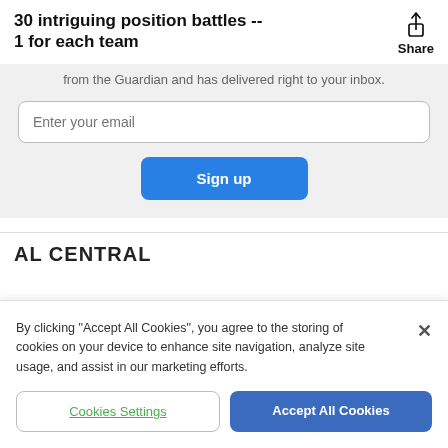30 intriguing position battles -- 1 for each team
from the Guardian and has delivered right to your inbox.
Enter your email
Sign up
AL CENTRAL
By clicking "Accept All Cookies", you agree to the storing of cookies on your device to enhance site navigation, analyze site usage, and assist in our marketing efforts.
Cookies Settings
Accept All Cookies